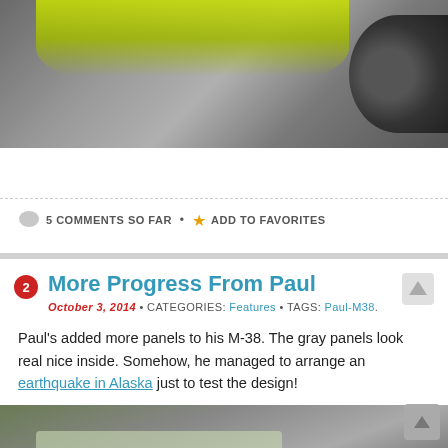[Figure (photo): Partial view of a vehicle undercarriage/fender area with yellow-green frame and a large tire visible on the right]
5 COMMENTS SO FAR • ADD TO FAVORITES
More Progress From Paul
October 3, 2014 • CATEGORIES: Features • TAGS: Paul-M38.
Paul's added more panels to his M-38. The gray panels look real nice inside. Somehow, he managed to arrange an earthquake in Alaska just to test the design!
[Figure (photo): Interior photo of an M-38 vehicle showing gray panel installation on ceiling/overhead area]